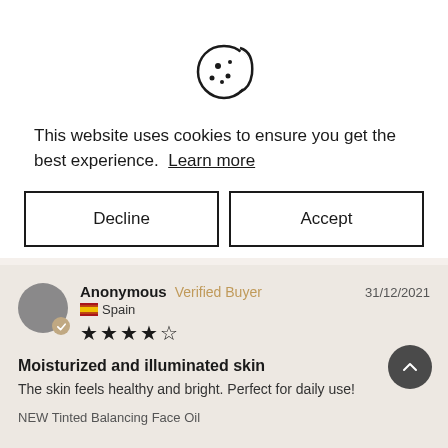[Figure (screenshot): Cookie consent modal with cookie icon, explanatory text, Decline and Accept buttons, overlaid on a webpage showing a product review section.]
This website uses cookies to ensure you get the best experience. Learn more
Decline
Accept
Anonymous  Verified Buyer  31/12/2021
Spain
★★★★☆
Moisturized and illuminated skin
The skin feels healthy and bright. Perfect for daily use!
NEW Tinted Balancing Face Oil